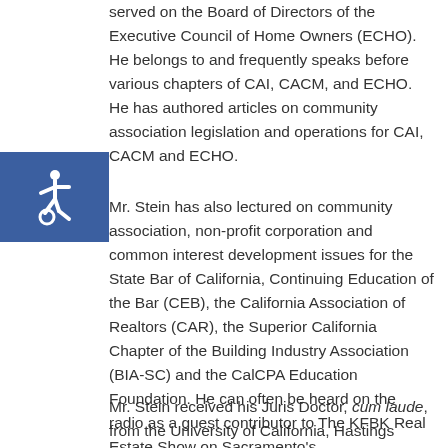served on the Board of Directors of the Executive Council of Home Owners (ECHO). He belongs to and frequently speaks before various chapters of CAI, CACM, and ECHO. He has authored articles on community association legislation and operations for CAI, CACM and ECHO.
[Figure (logo): Accessibility icon — white wheelchair symbol on blue background]
Mr. Stein has also lectured on community association, non-profit corporation and common interest development issues for the State Bar of California, Continuing Education of the Bar (CEB), the California Association of Realtors (CAR), the Superior California Chapter of the Building Industry Association (BIA-SC) and the CalCPA Education Foundation. He can often be heard on the radio as a guest contributor to The KFBK Real Estate Show on Sacramento's AM1530/93.1FM.
Mr. Stein received his Juris Doctor, cum laude, from the University of California, Hastings College of the